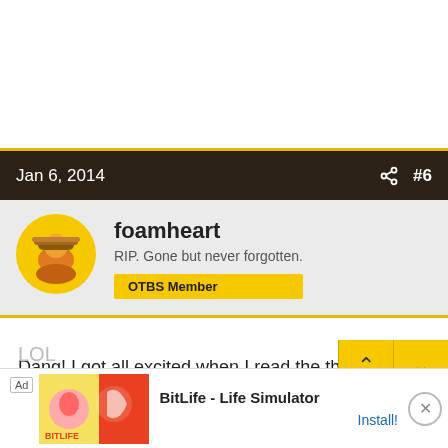Jan 6, 2014  #6
foamheart
RIP. Gone but never forgotten.
OTBS Member
Dang! I got all excited when I read the thread title and expected to see smoked shots of Jacque Daniels, Jose Cuervo, Blue Goose, etc etc etc......
We ne...
LOL
[Figure (screenshot): BitLife - Life Simulator ad banner at bottom of page]